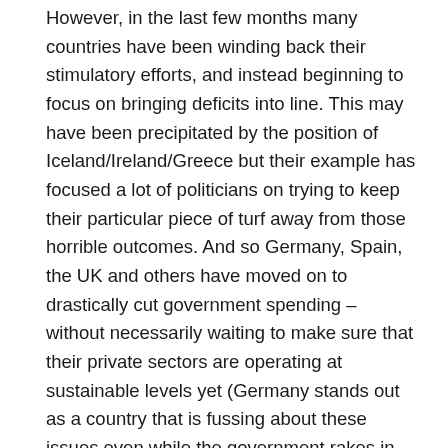However, in the last few months many countries have been winding back their stimulatory efforts, and instead beginning to focus on bringing deficits into line. This may have been precipitated by the position of Iceland/Ireland/Greece but their example has focused a lot of politicians on trying to keep their particular piece of turf away from those horrible outcomes. And so Germany, Spain, the UK and others have moved on to drastically cut government spending – without necessarily waiting to make sure that their private sectors are operating at sustainable levels yet (Germany stands out as a country that is fussing about these issues even while the government rakes in huge income from the rest of the world's efforts owing to the reduction in the value of the Euro and Germany's position as the largest exporter in the world).